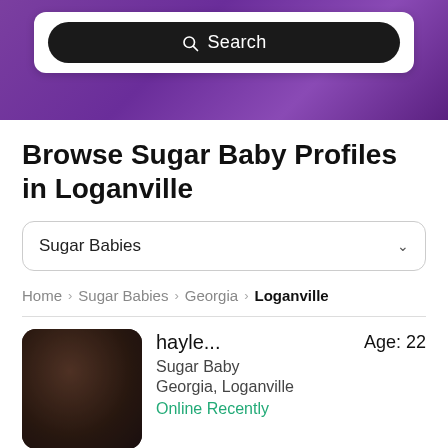[Figure (screenshot): Purple gradient banner with a white card containing a dark search bar labeled 'Search' with a magnifier icon]
Browse Sugar Baby Profiles in Loganville
Sugar Babies (dropdown)
Home > Sugar Babies > Georgia > Loganville
hayle... Age: 22 Sugar Baby Georgia, Loganville Online Recently